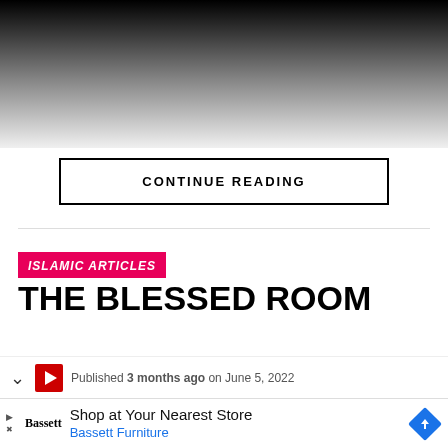[Figure (photo): Black to white gradient fade image at top of page, representing a faded/obscured article image]
CONTINUE READING
ISLAMIC ARTICLES
THE BLESSED ROOM
Published 3 months ago on June 5, 2022
Shop at Your Nearest Store Bassett Furniture